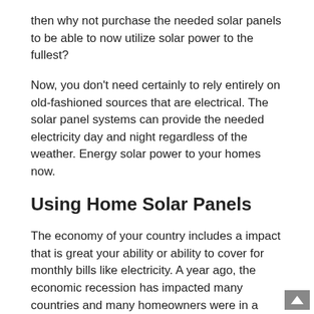then why not purchase the needed solar panels to be able to now utilize solar power to the fullest?
Now, you don't need certainly to rely entirely on old-fashioned sources that are electrical. The solar panel systems can provide the needed electricity day and night regardless of the weather. Energy solar power to your homes now.
Using Home Solar Panels
The economy of your country includes a impact that is great your ability or ability to cover for monthly bills like electricity. A year ago, the economic recession has impacted many countries and many homeowners were in a position to have the impact literally. Who wouldn't love the concept to be in a position to save very well your month-to-month bills that are electrical? One way to do